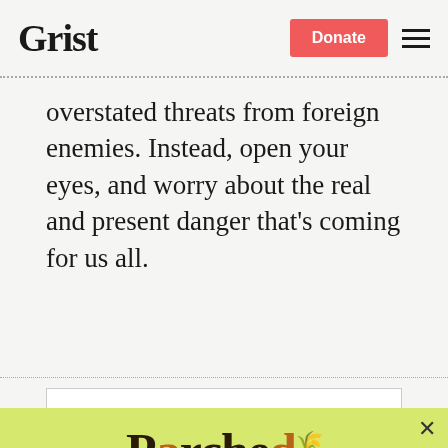Grist | Donate
overstated threats from foreign enemies. Instead, open your eyes, and worry about the real and present danger that's coming for us all.
[Figure (other): Parched newsletter signup popup on lime-green background with email input and SIGN UP button, and 'No thanks' link]
Sign up to get drought updates from Grist.
No thanks